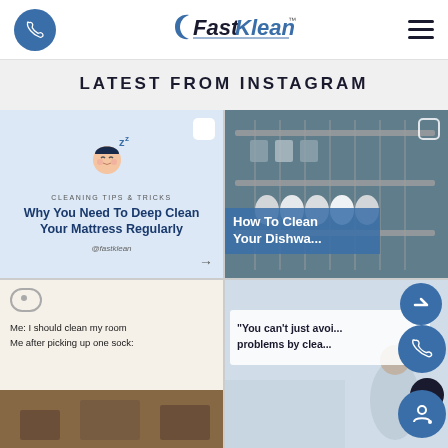FastKlean - phone icon and hamburger menu
LATEST FROM INSTAGRAM
[Figure (screenshot): Instagram post with sleeping person illustration, text 'CLEANING TIPS & TRICKS' and title 'Why You Need To Deep Clean Your Mattress Regularly' with @fastklean handle]
[Figure (photo): Photo of open dishwasher full of dishes with overlay text 'How To Clean Your Dishwa...' (dishwasher)]
[Figure (screenshot): Meme post: 'Me: I should clean my room / Me after picking up one sock:' with a small photo below]
[Figure (screenshot): Quote post: '"You can't just avoi... problems by clea...' (cleaning quote) with person in background]